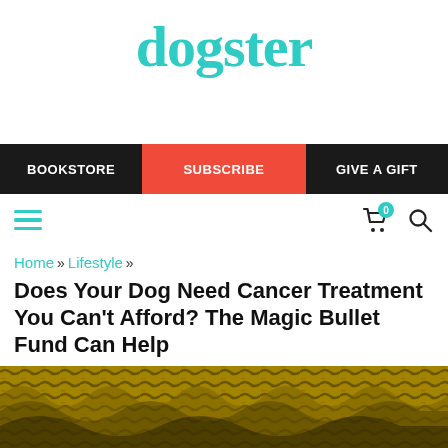dogster
BOOKSTORE | SUBSCRIBE | GIVE A GIFT
Home » Lifestyle »
Does Your Dog Need Cancer Treatment You Can't Afford? The Magic Bullet Fund Can Help
[Figure (photo): Yellow and dark textured background photo, likely a close-up of dog fur or outdoor texture]